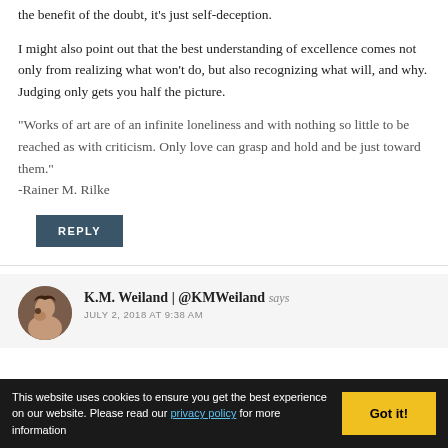the benefit of the doubt, it's just self-deception.
I might also point out that the best understanding of excellence comes not only from realizing what won't do, but also recognizing what will, and why. Judging only gets you half the picture.
“Works of art are of an infinite loneliness and with nothing so little to be reached as with criticism. Only love can grasp and hold and be just toward them.” -Rainer M. Rilke
K.M. Weiland | @KMWeiland says
JULY 2, 2018 AT 9:38 AM
This website uses cookies to ensure you get the best experience on our website. Please read our privacy policy for more information